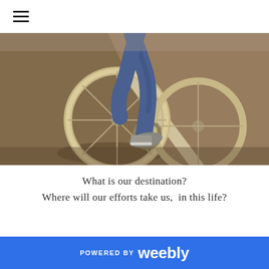[Figure (photo): Close-up photo of a person riding a bicycle on a road, showing the bicycle wheel and the rider's legs in jeans and sneakers, with a sandy asphalt road and a white stripe visible]
What is our destination?
Where will our efforts take us,  in this life?
POWERED BY weebly